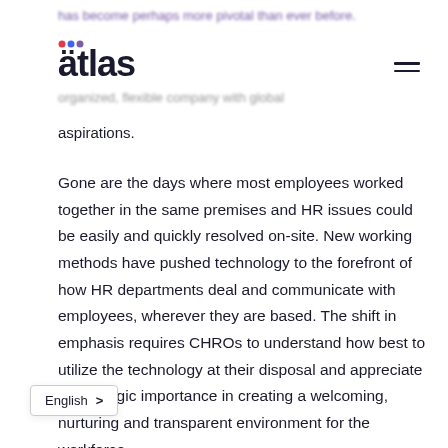has become perhaps more pivotal than ever before. organized, flexible company with global
aspirations.
Gone are the days where most employees worked together in the same premises and HR issues could be easily and quickly resolved on-site. New working methods have pushed technology to the forefront of how HR departments deal and communicate with employees, wherever they are based. The shift in emphasis requires CHROs to understand how best to utilize the technology at their disposal and appreciate its strategic importance in creating a welcoming, nurturing and transparent environment for the workforce.